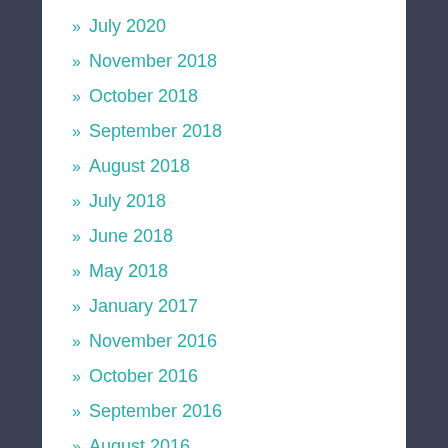» July 2020
» November 2018
» October 2018
» September 2018
» August 2018
» July 2018
» June 2018
» May 2018
» January 2017
» November 2016
» October 2016
» September 2016
» August 2016
» July 2016
» June 2016